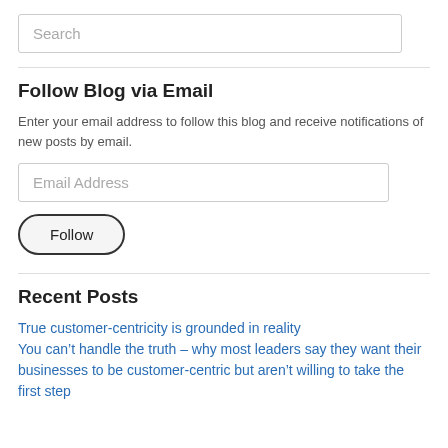Search
Follow Blog via Email
Enter your email address to follow this blog and receive notifications of new posts by email.
Email Address
Follow
Recent Posts
True customer-centricity is grounded in reality
You can’t handle the truth – why most leaders say they want their businesses to be customer-centric but aren’t willing to take the first step